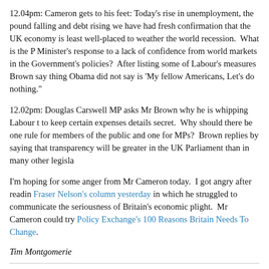12.04pm: Cameron gets to his feet: Today's rise in unemployment, the pound falling and debt rising we have had fresh confirmation that the UK economy is least well-placed to weather the world recession.  What is the Prime Minister's response to a lack of confidence from world markets in the Government's policies?  After listing some of Labour's measures Brown says the one thing Obama did not say is 'My fellow Americans, Let's do nothing."
12.02pm: Douglas Carswell MP asks Mr Brown why he is whipping Labour MPs to keep certain expenses details secret.  Why should there be one rule for members of the public and one for MPs?  Brown replies by saying that transparency will be greater in the UK Parliament than in many other legislatures.
I'm hoping for some anger from Mr Cameron today.  I got angry after reading Fraser Nelson's column yesterday in which he struggled to communicate the seriousness of Britain's economic plight.  Mr Cameron could try Policy Exchange's 100 Reasons Britain Needs To Change.
Tim Montgomerie
January 21, 2009 at 11:17 in PMQs | Permalink
Comments